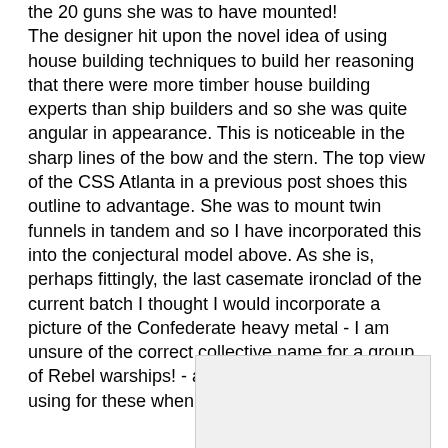the 20 guns she was to have mounted! The designer hit upon the novel idea of using house building techniques to build her reasoning that there were more timber house building experts than ship builders and so she was quite angular in appearance. This is noticeable in the sharp lines of the bow and the stern. The top view of the CSS Atlanta in a previous post shoes this outline to advantage. She was to mount twin funnels in tandem and so I have incorporated this into the conjectural model above. As she is, perhaps fittingly, the last casemate ironclad of the current batch I thought I would incorporate a picture of the Confederate heavy metal - I am unsure of the correct collective name for a group of Rebel warships! - and the names I shall be using for these when they are painted and based.
[Figure (photo): A partially visible image/photo at the bottom of the page, mostly cut off, with a light gray background.]